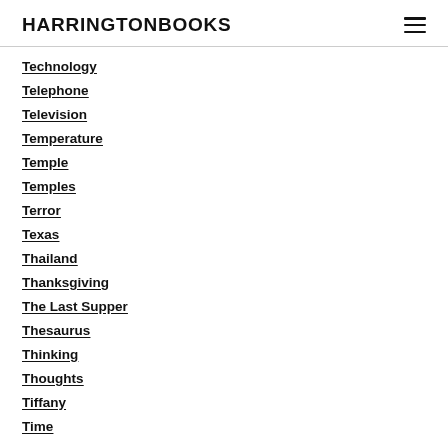HARRINGTONBOOKS
Technology
Telephone
Television
Temperature
Temple
Temples
Terror
Texas
Thailand
Thanksgiving
The Last Supper
Thesaurus
Thinking
Thoughts
Tiffany
Time